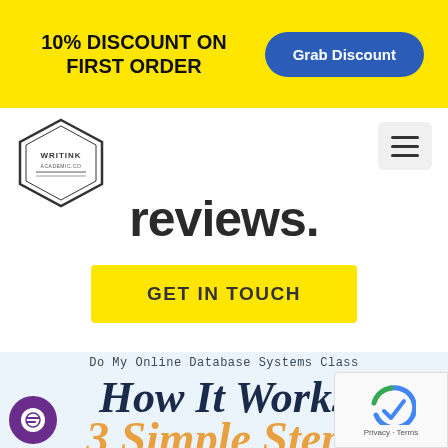10% DISCOUNT ON FIRST ORDER
[Figure (logo): Writink logo in hexagon shape]
reviews.
GET IN TOUCH
Do My Online Database Systems Class
How It Works
3 Simple Steps